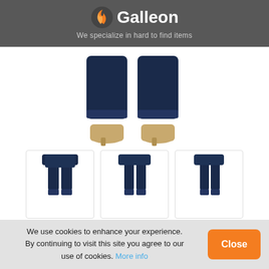Galleon - We specialize in hard to find items
[Figure (photo): Close-up of legs wearing dark indigo jeans cuffed at the ankle with beige/nude heeled pumps, on white background]
[Figure (photo): Three thumbnail images of Lee Women's Misses Relaxed Fit jeans in dark indigo, shown from front and side angles]
Lee Women's Misses Relaxed Fit Side
Elastic Jean, Dark Indigo, 16 Short
We use cookies to enhance your experience. By continuing to visit this site you agree to our use of cookies. More info